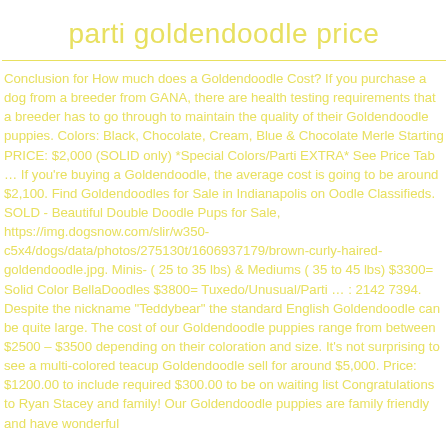parti goldendoodle price
Conclusion for How much does a Goldendoodle Cost? If you purchase a dog from a breeder from GANA, there are health testing requirements that a breeder has to go through to maintain the quality of their Goldendoodle puppies. Colors: Black, Chocolate, Cream, Blue & Chocolate Merle Starting PRICE: $2,000 (SOLID only) *Special Colors/Parti EXTRA* See Price Tab … If you're buying a Goldendoodle, the average cost is going to be around $2,100. Find Goldendoodles for Sale in Indianapolis on Oodle Classifieds. SOLD - Beautiful Double Doodle Pups for Sale, https://img.dogsnow.com/slir/w350-c5x4/dogs/data/photos/275130t/1606937179/brown-curly-haired-goldendoodle.jpg. Minis- ( 25 to 35 lbs) & Mediums ( 35 to 45 lbs) $3300= Solid Color BellaDoodles $3800= Tuxedo/Unusual/Parti … : 2142 7394. Despite the nickname "Teddybear" the standard English Goldendoodle can be quite large. The cost of our Goldendoodle puppies range from between $2500 – $3500 depending on their coloration and size. It's not surprising to see a multi-colored teacup Goldendoodle sell for around $5,000. Price: $1200.00 to include required $300.00 to be on waiting list Congratulations to Ryan Stacey and family! Our Goldendoodle puppies are family friendly and have wonderful